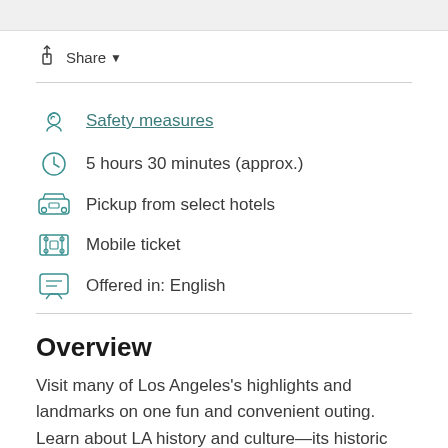Safety measures
5 hours 30 minutes (approx.)
Pickup from select hotels
Mobile ticket
Offered in: English
Overview
Visit many of Los Angeles's highlights and landmarks on one fun and convenient outing. Learn about LA history and culture—its historic filming locations and crime scenes, celebrity homes and trendy